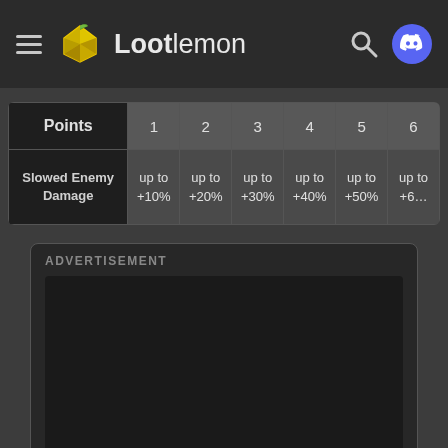Lootlemon
| Points | 1 | 2 | 3 | 4 | 5 | 6 |
| --- | --- | --- | --- | --- | --- | --- |
| Slowed Enemy Damage | up to +10% | up to +20% | up to +30% | up to +40% | up to +50% | up to +6... |
ADVERTISEMENT